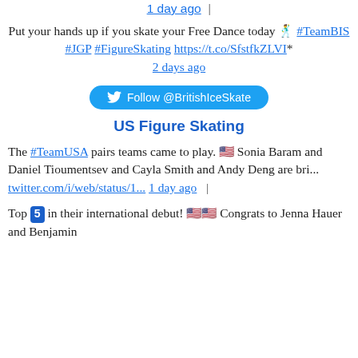1 day ago  |
Put your hands up if you skate your Free Dance today 🕺 #TeamBIS #JGP #FigureSkating https://t.co/SfstfkZLVI*
2 days ago
Follow @BritishIceSkate
US Figure Skating
The #TeamUSA pairs teams came to play. 🇺🇸 Sonia Baram and Daniel Tioumentsev and Cayla Smith and Andy Deng are bri... twitter.com/i/web/status/1...  1 day ago  |
Top 5 in their international debut! 🇺🇸🇺🇸 Congrats to Jenna Hauer and Benjamin